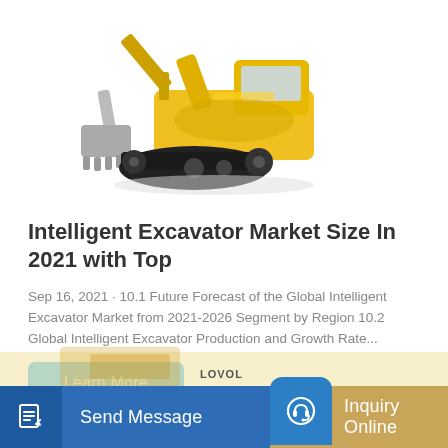[Figure (photo): Yellow and black construction excavator on white background]
Intelligent Excavator Market Size In 2021 with Top
Sep 16, 2021 · 10.1 Future Forecast of the Global Intelligent Excavator Market from 2021-2026 Segment by Region 10.2 Global Intelligent Excavator Production and Growth Rate...
Learn More
Send Message | Inquiry Online